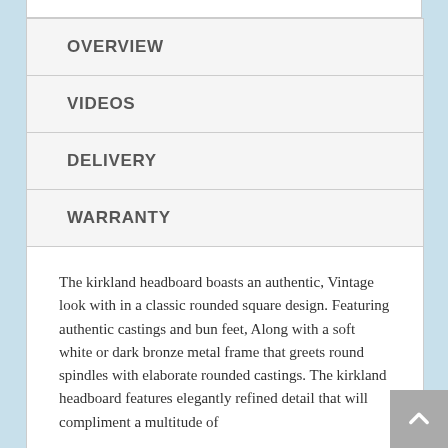OVERVIEW
VIDEOS
DELIVERY
WARRANTY
The kirkland headboard boasts an authentic, Vintage look with in a classic rounded square design. Featuring authentic castings and bun feet, Along with a soft white or dark bronze metal frame that greets round spindles with elaborate rounded castings. The kirkland headboard features elegantly refined detail that will compliment a multitude of